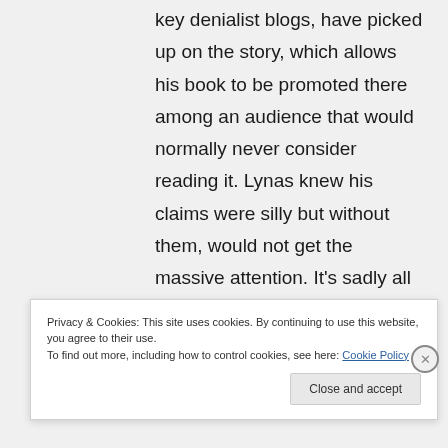key denialist blogs, have picked up on the story, which allows his book to be promoted there among an audience that would normally never consider reading it. Lynas knew his claims were silly but without them, would not get the massive attention. It's sadly all too familiar a tactic…
Privacy & Cookies: This site uses cookies. By continuing to use this website, you agree to their use. To find out more, including how to control cookies, see here: Cookie Policy